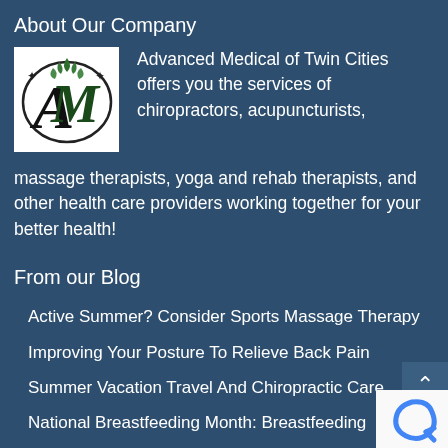About Our Company
[Figure (logo): Advanced Medical of Twin Cities logo - stylized AM letters with floral design]
Advanced Medical of Twin Cities offers you the services of chiropractors, acupuncturists, massage therapists, yoga and rehab therapists, and other health care providers working together for your better health!
From our Blog
Active Summer? Consider Sports Massage Therapy
Improving Your Posture To Relieve Back Pain
Summer Vacation Travel And Chiropractic Care
National Breastfeeding Month: Breastfeeding